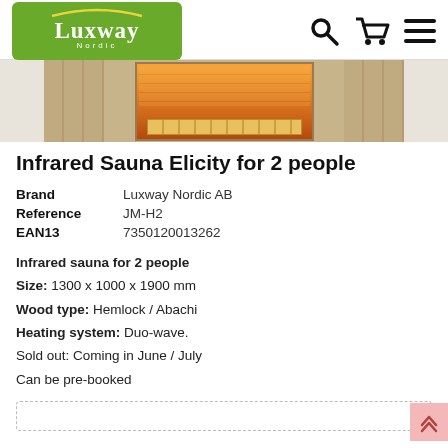Luxway Nordic
[Figure (photo): Partial view of an infrared sauna cabin showing wooden exterior and glowing interior with bench, cropped at top]
Infrared Sauna Elicity for 2 people
| Brand | Luxway Nordic AB |
| Reference | JM-H2 |
| EAN13 | 7350120013262 |
Infrared sauna for 2 people
Size: 1300 x 1000 x 1900 mm
Wood type: Hemlock / Abachi
Heating system: Duo-wave.
Sold out: Coming in June / July
Can be pre-booked